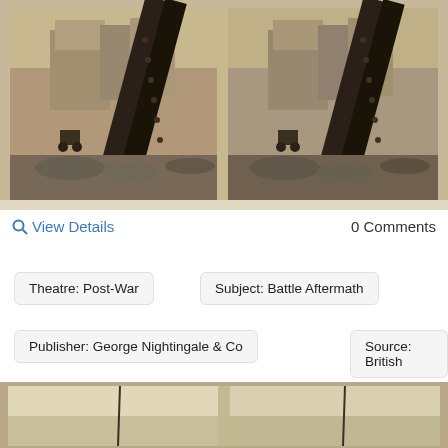[Figure (photo): Stereoscopic dual photograph showing war aftermath scene with twisted metal structural supports and rubble in foreground, European-style multi-story buildings visible in background, sepia-toned historical photograph]
View Details
0 Comments
Theatre: Post-War
Subject: Battle Aftermath
Publisher: George Nightingale & Co
Source: British
[Figure (photo): Stereoscopic dual photograph, bottom portion visible, showing sepia-toned outdoor scene with vertical pole or antenna visible]